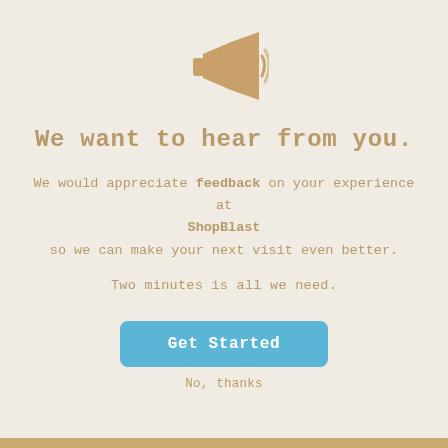[Figure (illustration): A golden/tan megaphone icon centered at the top of the page]
We want to hear from you.
We would appreciate feedback on your experience at ShopBlast so we can make your next visit even better.
Two minutes is all we need.
Get Started
No, thanks